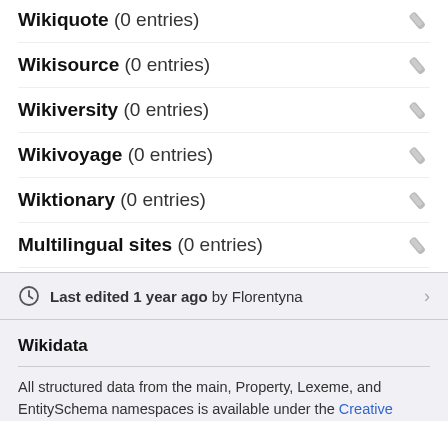Wikiquote (0 entries)
Wikisource (0 entries)
Wikiversity (0 entries)
Wikivoyage (0 entries)
Wiktionary (0 entries)
Multilingual sites (0 entries)
Last edited 1 year ago by Florentyna
Wikidata
All structured data from the main, Property, Lexeme, and EntitySchema namespaces is available under the Creative